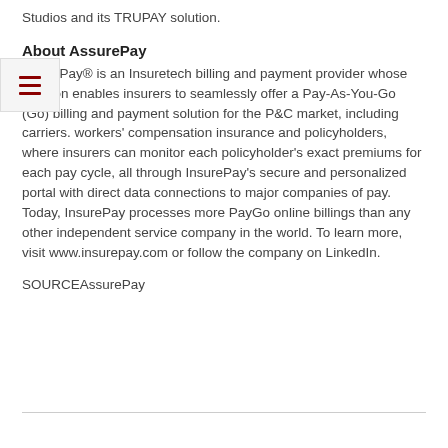Studios and its TRUPAY solution.
About AssurePay
InsurePay® is an Insuretech billing and payment provider whose solution enables insurers to seamlessly offer a Pay-As-You-Go (Go) billing and payment solution for the P&C market, including carriers. workers' compensation insurance and policyholders, where insurers can monitor each policyholder's exact premiums for each pay cycle, all through InsurePay's secure and personalized portal with direct data connections to major companies of pay. Today, InsurePay processes more PayGo online billings than any other independent service company in the world. To learn more, visit www.insurepay.com or follow the company on LinkedIn.
SOURCEAssurePay